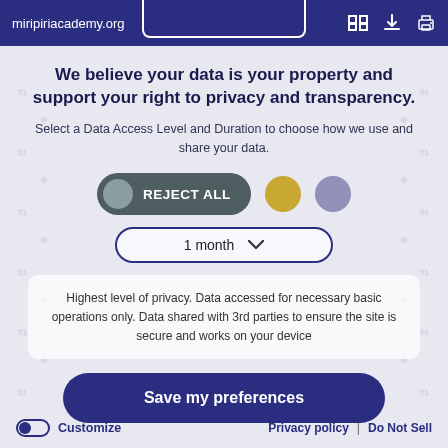miripiriacademy.org
We believe your data is your property and support your right to privacy and transparency.
Select a Data Access Level and Duration to choose how we use and share your data.
[Figure (screenshot): REJECT ALL toggle button (dark teal/grey pill shape) with grey circle on left, REJECT ALL text in white. Followed by a gold circle and a purple circle to the right.]
[Figure (screenshot): Dropdown selector showing '1 month' with a down chevron, outlined with dark navy border, rounded pill shape.]
Highest level of privacy. Data accessed for necessary basic operations only. Data shared with 3rd parties to ensure the site is secure and works on your device
Save my preferences
Customize   Privacy policy  |  Do Not Sell